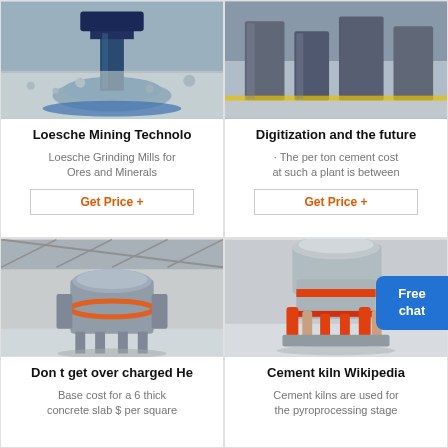[Figure (photo): Industrial grinding mill machine in a factory setting]
Loesche Mining Technolo
Loesche Grinding Mills for Ores and Minerals
Get Price +
[Figure (photo): Industrial cement plant machinery]
Digitization and the future
· The per ton cement cost at such a plant is between
Get Price +
[Figure (photo): VSI crusher machine in industrial hall]
Don t get over charged He
Base cost for a 6 thick concrete slab $ per square
[Figure (photo): Cement kiln / cone crusher machine in factory]
Cement kiln Wikipedia
Cement kilns are used for the pyroprocessing stage